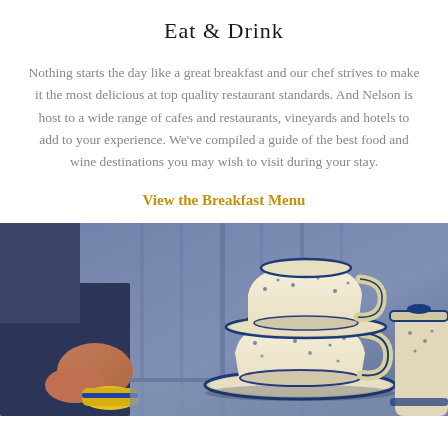Eat & Drink
Nothing starts the day like a great breakfast and our chef strives to make it the most delicious at top quality restaurant standards. And Nelson is host to a wide range of cafes and restaurants, vineyards and hotels to add to your experience. We've compiled a guide of the best food and wine destinations you may wish to visit during your stay.
View the Breakfast Menu
[Figure (photo): Photo of stacked blue and white patterned tea cups and saucers on a table, with a person's hand visible holding something in the foreground left, soft blue background]